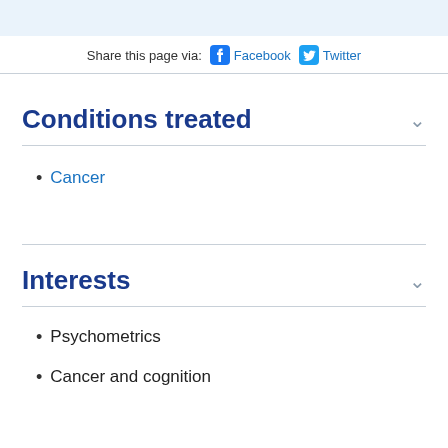Share this page via: Facebook Twitter
Conditions treated
Cancer
Interests
Psychometrics
Cancer and cognition